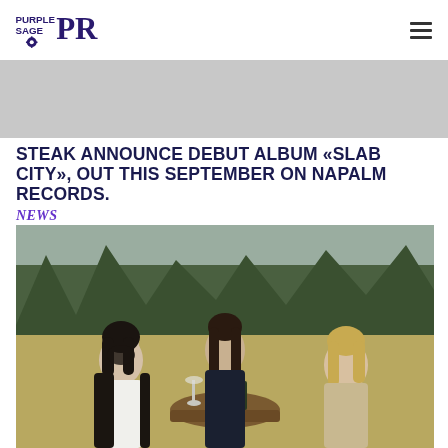Purple Sage PR [logo] [hamburger menu]
[Figure (other): Gray banner/advertisement placeholder area]
STEAK ANNOUNCE DEBUT ALBUM «SLAB CITY», OUT THIS SEPTEMBER ON NAPALM RECORDS.
NEWS
[Figure (photo): Three long-haired men sitting outdoors at a round table with bottles, in front of a forest. Band photo for Steak.]